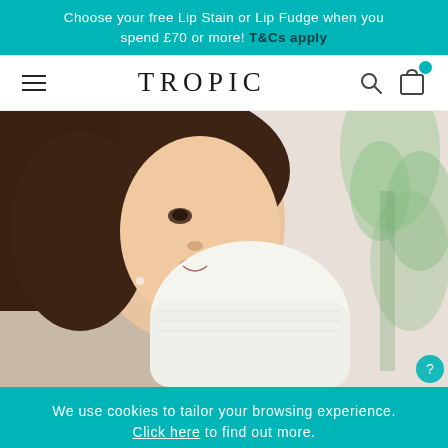Choose your free Lip Stain or Lip Fudge when you spend £70 or more! T&Cs apply
[Figure (screenshot): Tropic skincare website navigation bar with hamburger menu on left, TROPIC logo in center, search icon and shopping bag icon with teal notification badge on right]
[Figure (photo): Woman with dark hair holding a white towel to her face, smiling, with blurred green plant in background — hero banner image for Tropic skincare website]
We use cookies to tailor your browsing experience. Click here to find out more.
Decline   Allow cookies